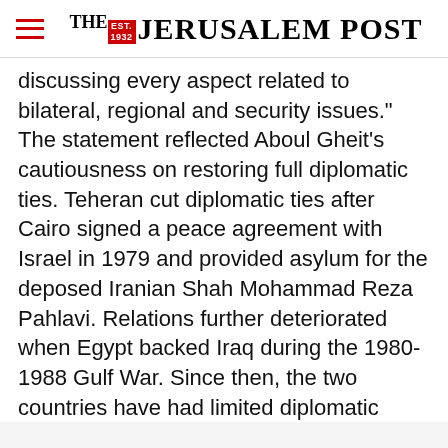THE JERUSALEM POST
discussing every aspect related to bilateral, regional and security issues." The statement reflected Aboul Gheit's cautiousness on restoring full diplomatic ties. Teheran cut diplomatic ties after Cairo signed a peace agreement with Israel in 1979 and provided asylum for the deposed Iranian Shah Mohammad Reza Pahlavi. Relations further deteriorated when Egypt backed Iraq during the 1980-1988 Gulf War. Since then, the two countries have had limited diplomatic
Advertisement